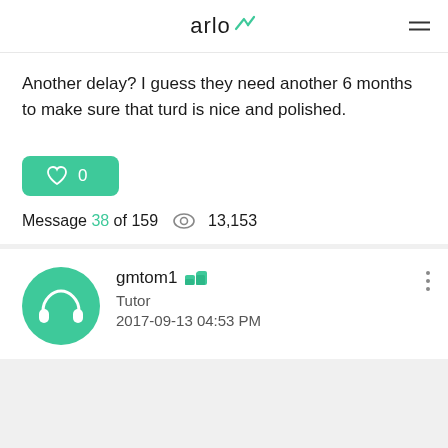arlo
Another delay? I guess they need another 6 months to make sure that turd is nice and polished.
♡ 0
Message 38 of 159  👁 13,153
gmtom1
Tutor
2017-09-13 04:53 PM